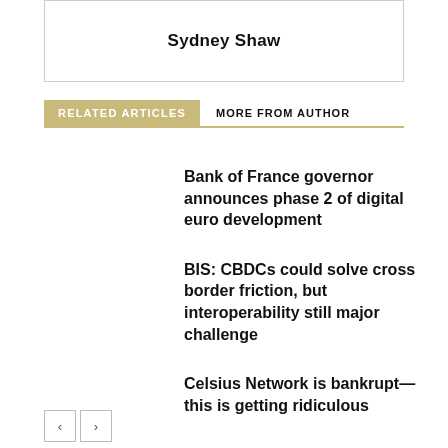Sydney Shaw
RELATED ARTICLES
MORE FROM AUTHOR
Bank of France governor announces phase 2 of digital euro development
BIS: CBDCs could solve cross border friction, but interoperability still major challenge
Celsius Network is bankrupt—this is getting ridiculous